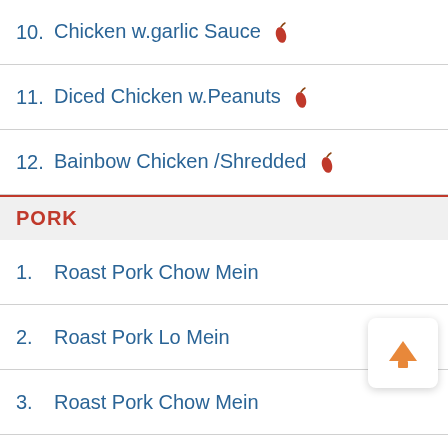10.  Chicken w.garlic Sauce 🌶
11.  Diced Chicken w.Peanuts 🌶
12.  Bainbow Chicken /Shredded 🌶
PORK
1.  Roast Pork Chow Mein
2.  Roast Pork Lo Mein
3.  Roast Pork Chow Mein
4.  Sweet & Sour Pork
5.  Roast Pork Fresh Mushroom
6.  Spicy Satay Pork(Shredded)
7.  Hot & Spicy Pork(Shredded) 🌶